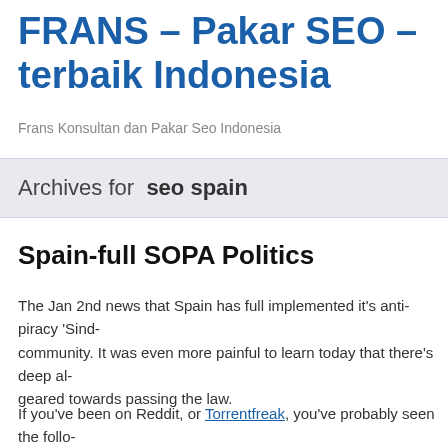FRANS – Pakar SEO – terbaik Indonesia
Frans Konsultan dan Pakar Seo Indonesia
Archives for  seo spain
Spain-full SOPA Politics
The Jan 2nd news that Spain has full implemented it's anti-piracy 'Sind... community. It was even more painful to learn today that there's deep al... geared towards passing the law.
If you've been on Reddit, or Torrentfreak, you've probably seen the follo...